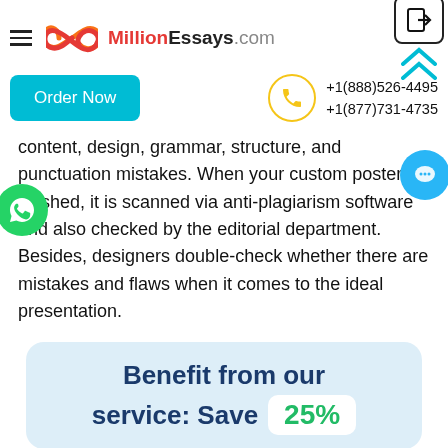MillionEssays.com
+1(888)526-4495
+1(877)731-4735
content, design, grammar, structure, and punctuation mistakes. When your custom poster is finished, it is scanned via anti-plagiarism software and also checked by the editorial department. Besides, designers double-check whether there are mistakes and flaws when it comes to the ideal presentation.
Benefit from our service: Save 25%
Along with the first order offer -